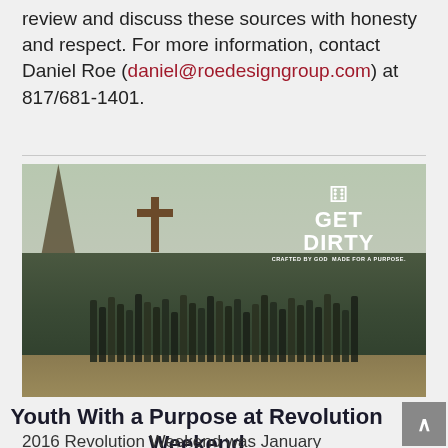review and discuss these sources with honesty and respect. For more information, contact Daniel Roe (daniel@roedesigngroup.com) at 817/681-1401.
[Figure (photo): Group photo of youth at Revolution Weekend event, standing outdoors in front of a large wooden cross. An overlay in the upper right reads 'GET DIRTY — Crafted by God, Made for a Purpose.']
Youth With a Purpose at Revolution Weekend
2016 Revolution Weekend was January